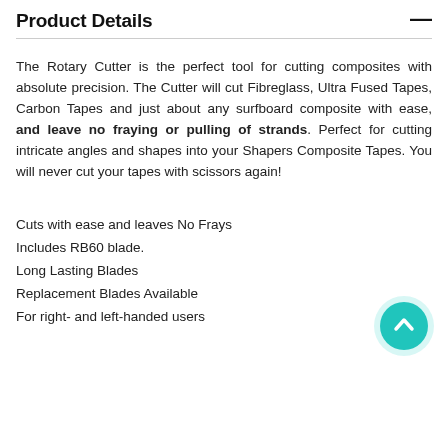Product Details
The Rotary Cutter is the perfect tool for cutting composites with absolute precision. The Cutter will cut Fibreglass, Ultra Fused Tapes, Carbon Tapes and just about any surfboard composite with ease, and leave no fraying or pulling of strands. Perfect for cutting intricate angles and shapes into your Shapers Composite Tapes. You will never cut your tapes with scissors again!
Cuts with ease and leaves No Frays
Includes RB60 blade.
Long Lasting Blades
Replacement Blades Available
For right- and left-handed users